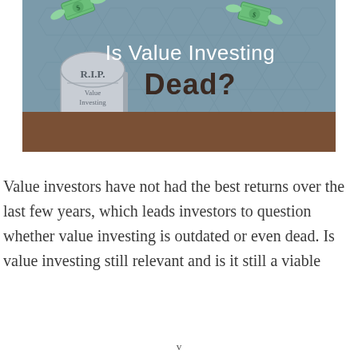[Figure (illustration): Illustration showing a gravestone labeled 'R.I.P. Value Investing' with flying dollar bills, on a blue-grey hexagonal background with brown ground. Title text reads 'Is Value Investing Dead?']
Value investors have not had the best returns over the last few years, which leads investors to question whether value investing is outdated or even dead. Is value investing still relevant and is it still a viable
v